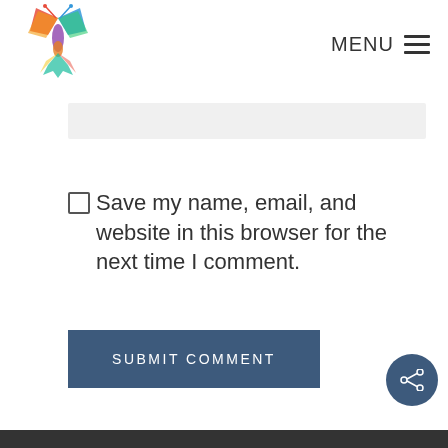MENU
[Figure (logo): Colorful butterfly/elephant logo]
Save my name, email, and website in this browser for the next time I comment.
SUBMIT COMMENT